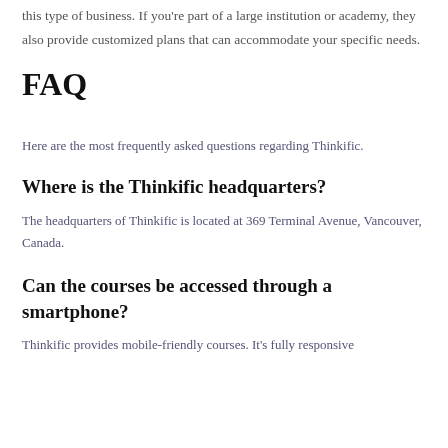this type of business. If you're part of a large institution or academy, they also provide customized plans that can accommodate your specific needs.
FAQ
Here are the most frequently asked questions regarding Thinkific.
Where is the Thinkific headquarters?
The headquarters of Thinkific is located at 369 Terminal Avenue, Vancouver, Canada.
Can the courses be accessed through a smartphone?
Thinkific provides mobile-friendly courses. It's fully responsive